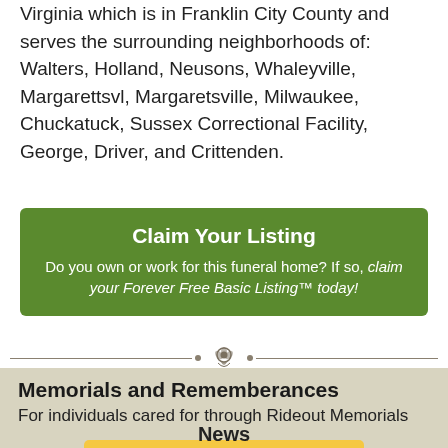Virginia which is in Franklin City County and serves the surrounding neighborhoods of: Walters, Holland, Neusons, Whaleyville, Margarettsvl, Margaretsville, Milwaukee, Chuckatuck, Sussex Correctional Facility, George, Driver, and Crittenden.
Claim Your Listing
Do you own or work for this funeral home? If so, claim your Forever Free Basic Listing™ today!
Memorials and Rememberances
For individuals cared for through Rideout Memorials
Add Your Rememberance
News